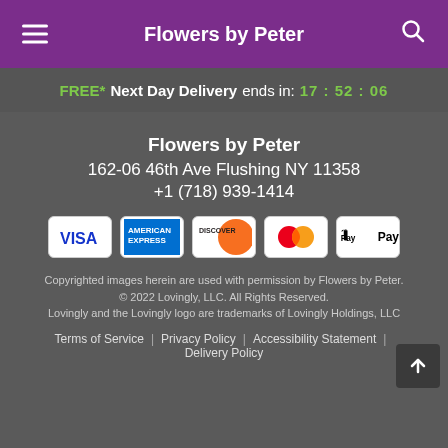Flowers by Peter
FREE* Next Day Delivery ends in: 17:52:06
Flowers by Peter
162-06 46th Ave Flushing NY 11358
+1 (718) 939-1414
[Figure (other): Payment method icons: Visa, American Express, Discover, Mastercard, Apple Pay]
Copyrighted images herein are used with permission by Flowers by Peter.
© 2022 Lovingly, LLC. All Rights Reserved.
Lovingly and the Lovingly logo are trademarks of Lovingly Holdings, LLC
Terms of Service | Privacy Policy | Accessibility Statement | Delivery Policy